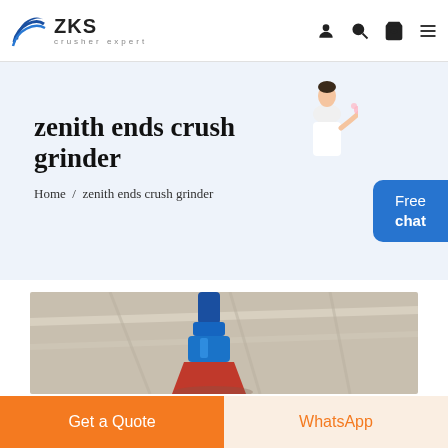ZKS crusher expert
zenith ends crush grinder
Home / zenith ends crush grinder
[Figure (photo): Industrial crusher/grinder machine photographed from below against a warehouse ceiling, showing blue mechanical components and red parts.]
Get a Quote
WhatsApp